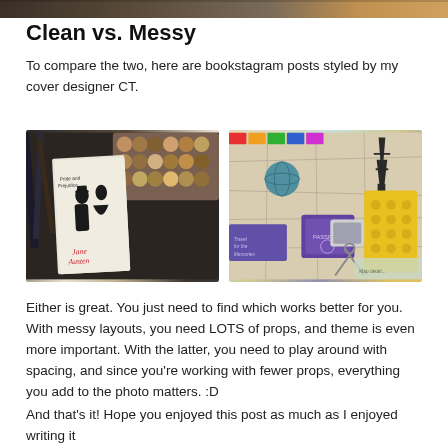[Figure (photo): Top cropped photo of bookstagram-style flat lay, partially visible at top of page]
Clean vs. Messy
To compare the two, here are bookstagram posts styled by my cover designer CT.
[Figure (photo): Left photo: Pride and Prejudice book styled with makeup palettes and pens — messy flat lay]
[Figure (photo): Right photo: Travel-themed flat lay with maps, passport, Eiffel Tower figurine, scissors, yellow stencil — clean layout]
Either is great. You just need to find which works better for you. With messy layouts, you need LOTS of props, and theme is even more important. With the latter, you need to play around with spacing, and since you're working with fewer props, everything you add to the photo matters. :D
And that's it! Hope you enjoyed this post as much as I enjoyed writing it